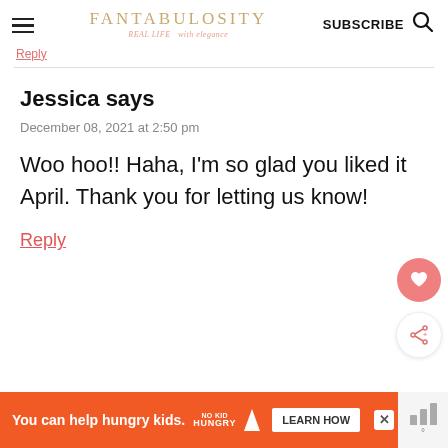FANTABULOSITY REAL LIFE with elegance | SUBSCRIBE
Reply
Jessica says
December 08, 2021 at 2:50 pm
Woo hoo!! Haha, I'm so glad you liked it April. Thank you for letting us know!
Reply
You can help hungry kids. NO KID HUNGRY LEARN HOW